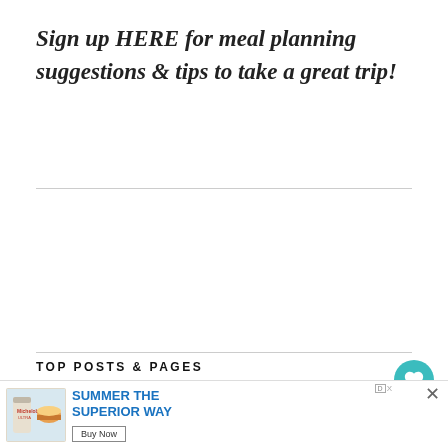Sign up HERE for meal planning suggestions & tips to take a great trip!
TOP POSTS & PAGES
Chocolate Chip Pudding Cookies
Meghan Markle's Zucchini Pasta
[Figure (other): Advertisement banner: SUMMER THE SUPERIOR WAY with Buy Now button and product images]
[Figure (other): What's Next thumbnail: Thirsty Thursday....]